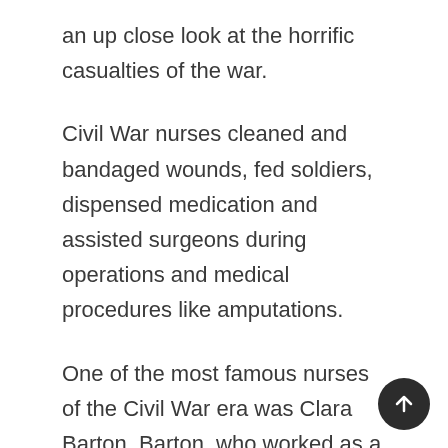an up close look at the horrific casualties of the war.
Civil War nurses cleaned and bandaged wounds, fed soldiers, dispensed medication and assisted surgeons during operations and medical procedures like amputations.
One of the most famous nurses of the Civil War era was Clara Barton. Barton, who worked as a clerk in the U.S. patent office when the Civil War broke out, began to show up at local battlefields armed with medical supplies, which she used to nurse sick and